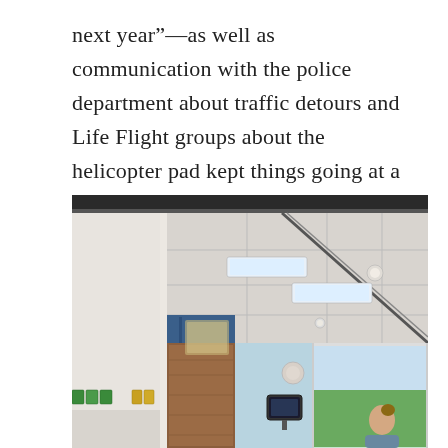next year”—as well as communication with the police department about traffic detours and Life Flight groups about the helicopter pad kept things going at a breakneck pace.
[Figure (photo): Interior hospital room photo showing a nurse or staff member standing near a window, medical equipment mounted on walls, blue accent walls, wooden cabinetry, drop ceiling with recessed fluorescent lights, and a large window with a view of green trees.]